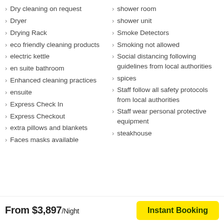Dry cleaning on request
Dryer
Drying Rack
eco friendly cleaning products
electric kettle
en suite bathroom
Enhanced cleaning practices
ensuite
Express Check In
Express Checkout
extra pillows and blankets
Faces masks available
shower room
shower unit
Smoke Detectors
Smoking not allowed
Social distancing following guidelines from local authorities
spices
Staff follow all safety protocols from local authorities
Staff wear personal protective equipment
steakhouse
From $3,897/Night  Instant Booking